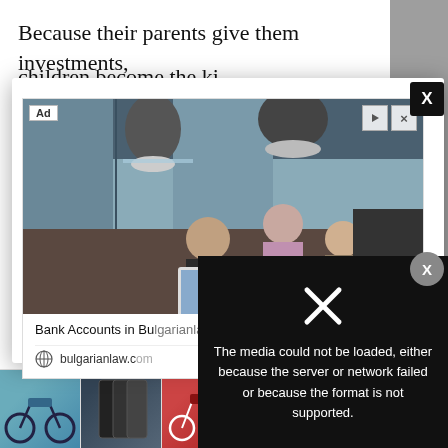Because their parents give them investments,
[Figure (screenshot): Advertisement popup showing an office scene with people looking at a laptop, for Bank Accounts in Bulgaria - Remote Opening, from bulgarianlaw.com. Contains an Ad label and close controls. Overlaid with a media error message: 'The media could not be loaded, either because the server or network failed or because the format is not supported.']
[Figure (screenshot): Bottom advertisement strip showing various product thumbnails: blue scooter/bike, smartphones, red scooter, purple phone, red handbags, with a play button icon.]
If thi...